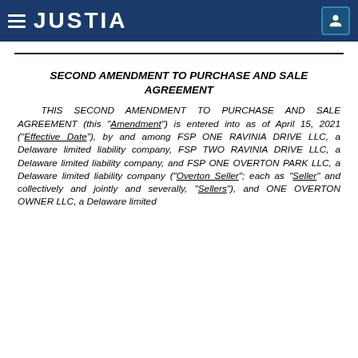JUSTIA
SECOND AMENDMENT TO PURCHASE AND SALE AGREEMENT
THIS SECOND AMENDMENT TO PURCHASE AND SALE AGREEMENT (this "Amendment") is entered into as of April 15, 2021 ("Effective Date"), by and among FSP ONE RAVINIA DRIVE LLC, a Delaware limited liability company, FSP TWO RAVINIA DRIVE LLC, a Delaware limited liability company, and FSP ONE OVERTON PARK LLC, a Delaware limited liability company ("Overton Seller"; each as "Seller" and collectively and jointly and severally, "Sellers"), and ONE OVERTON OWNER LLC, a Delaware limited